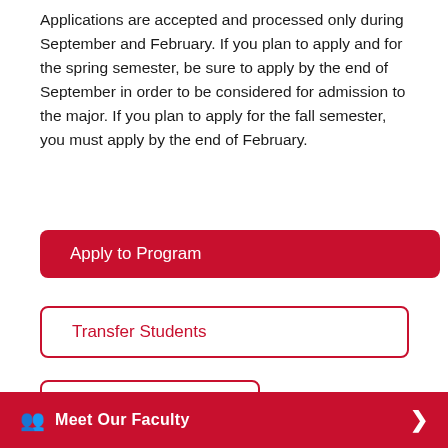Applications are accepted and processed only during September and February. If you plan to apply and for the spring semester, be sure to apply by the end of September in order to be considered for admission to the major. If you plan to apply for the fall semester, you must apply by the end of February.
Apply to Program
Transfer Students
Overview
Meet Our Faculty